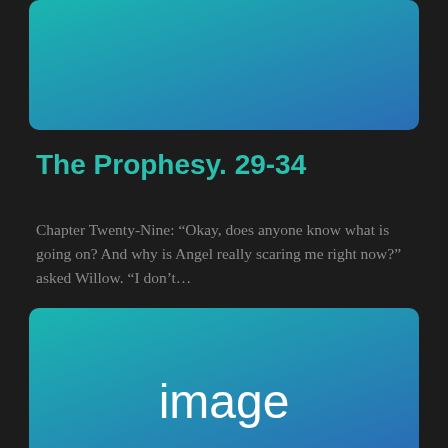[Figure (illustration): Teal to blue gradient rectangle image placeholder at top of page]
The Prophesy. 29-34
Chapter Twenty-Nine: “Okay, does anyone know what is going on? And why is Angel really scaring me right now?” asked Willow. “I don’t…
Posted On 29 Jul
[Figure (illustration): Teal to blue gradient rectangle image placeholder at bottom with centered text 'image']